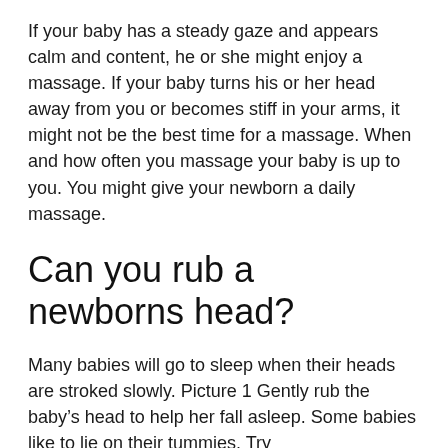If your baby has a steady gaze and appears calm and content, he or she might enjoy a massage. If your baby turns his or her head away from you or becomes stiff in your arms, it might not be the best time for a massage. When and how often you massage your baby is up to you. You might give your newborn a daily massage.
Can you rub a newborns head?
Many babies will go to sleep when their heads are stroked slowly. Picture 1 Gently rub the baby's head to help her fall asleep. Some babies like to lie on their tummies. Try